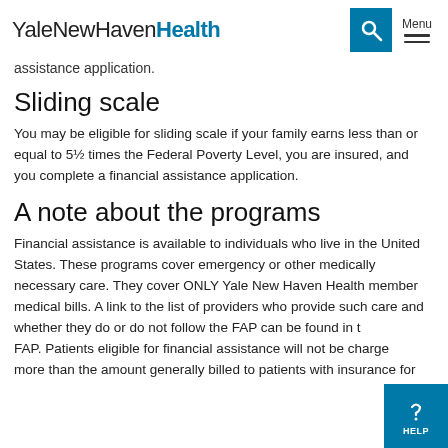YaleNewHavenHealth
assistance application.
Sliding scale
You may be eligible for sliding scale if your family earns less than or equal to 5½ times the Federal Poverty Level, you are insured, and you complete a financial assistance application.
A note about the programs
Financial assistance is available to individuals who live in the United States. These programs cover emergency or other medically necessary care. They cover ONLY Yale New Haven Health member medical bills. A link to the list of providers who provide such care and whether they do or do not follow the FAP can be found in the FAP. Patients eligible for financial assistance will not be charged more than the amount generally billed to patients with insurance for